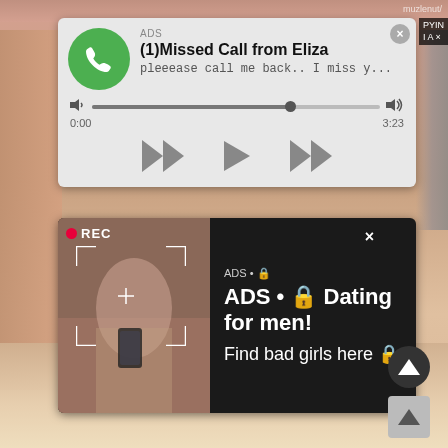[Figure (screenshot): A mobile/web advertisement screenshot showing two overlapping ad popups on a skin-tone background. Top ad: missed call notification with green phone icon, 'ADS', '(1)Missed Call from Eliza', 'pleeease call me back.. I miss y...', audio player progress bar, time 0:00 to 3:23, and playback controls. Bottom ad: dark background with a woman selfie photo with REC badge and camera frame overlay, and text 'ADS • Dating for men! Find bad girls here'. Watermark 'muzlenut/?' in top right.]